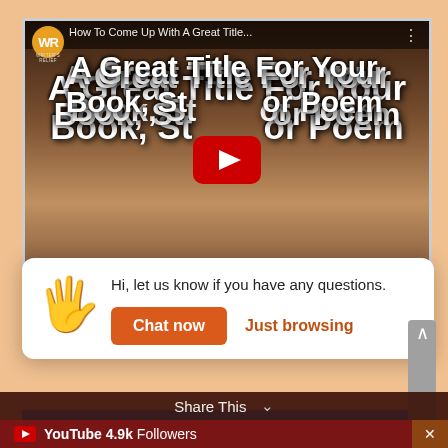[Figure (screenshot): YouTube video thumbnail showing 'How To Come Up With A Great Title For Your Book, Story, or Poem' with a YouTube play button overlay and a Writer's Relief (WR) logo in the top-left. Background shows an open book.]
[Figure (screenshot): Chat popup widget with a waving hand emoji, message 'Hi, let us know if you have any questions.' and two buttons: 'Chat now' (orange) and 'Just browsing' (text link).]
Hi, let us know if you have any questions.
Chat now
Just browsing
Facebook 116.5k Followers
Write a message...
Share This
YouTube 4.9k Followers